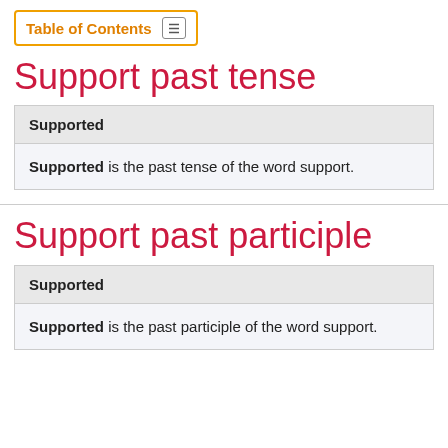Table of Contents
Support past tense
| Supported |
| --- |
| Supported is the past tense of the word support. |
Support past participle
| Supported |
| --- |
| Supported is the past participle of the word support. |